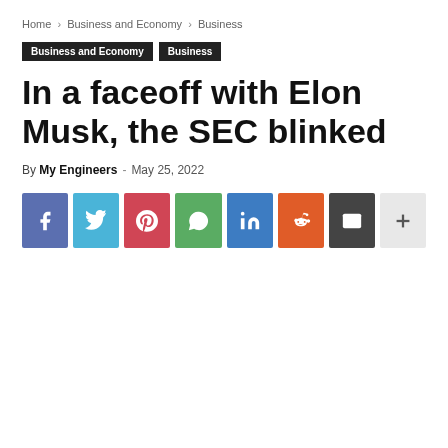Home › Business and Economy › Business
Business and Economy  Business
In a faceoff with Elon Musk, the SEC blinked
By My Engineers - May 25, 2022
[Figure (other): Social share buttons: Facebook, Twitter, Pinterest, WhatsApp, LinkedIn, Reddit, Email, More]